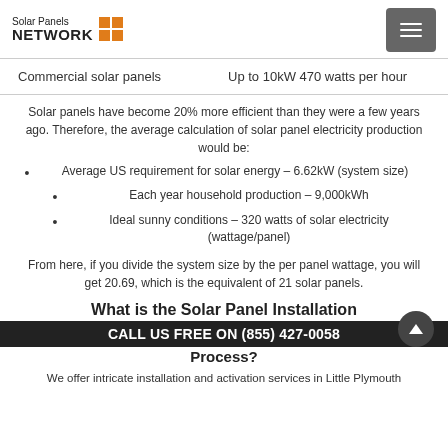Solar Panels NETWORK
| Commercial solar panels | Up to 10kW 470 watts per hour |
Solar panels have become 20% more efficient than they were a few years ago. Therefore, the average calculation of solar panel electricity production would be:
Average US requirement for solar energy – 6.62kW (system size)
Each year household production – 9,000kWh
Ideal sunny conditions – 320 watts of solar electricity (wattage/panel)
From here, if you divide the system size by the per panel wattage, you will get 20.69, which is the equivalent of 21 solar panels.
What is the Solar Panel Installation Process?
CALL US FREE ON (855) 427-0058
We offer intricate installation and activation services in Little Plymouth